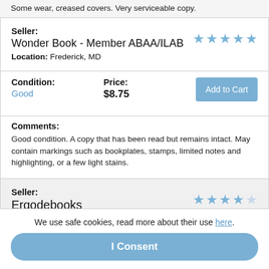Some wear, creased covers. Very serviceable copy.
Seller: Wonder Book - Member ABAA/ILAB
Location: Frederick, MD
Condition: Good | Price: $8.75
Comments: Good condition. A copy that has been read but remains intact. May contain markings such as bookplates, stamps, limited notes and highlighting, or a few light stains.
Seller: Ergodebooks
Location: Houston,, TX
Ask seller a question
We use safe cookies, read more about their use here.
I Consent